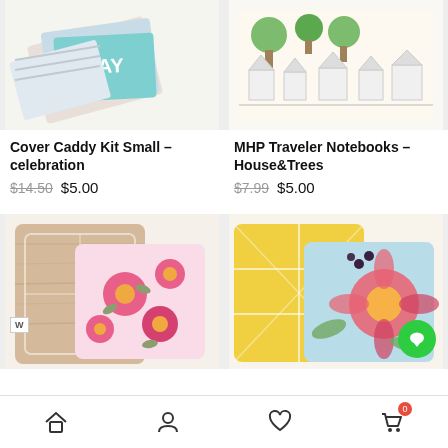[Figure (photo): Cover Caddy Kit Small celebration product image showing notebook/card set with YAY text]
[Figure (photo): MHP Traveler Notebooks House&Trees product image showing notebook with house and tree illustrations]
Cover Caddy Kit Small – celebration
$14.50  $5.00
MHP Traveler Notebooks – House&Trees
$7.99  $5.00
[Figure (photo): Product image showing floral pattern notebooks with pink flowers and wood grain cover]
[Figure (photo): Product image showing yellow geometric pattern and floral watercolor notebooks]